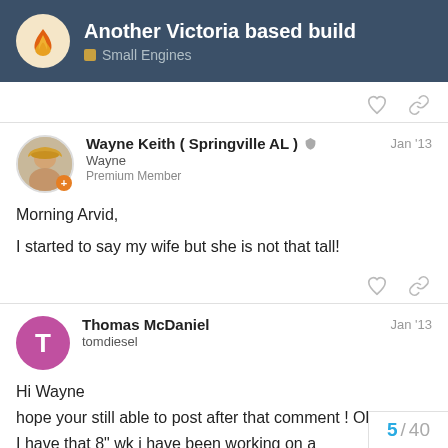Another Victoria based build — Small Engines
Wayne Keith ( Springville AL ) Wayne Premium Member Jan '13
Morning Arvid,
I started to say my wife but she is not that tall!
Thomas McDaniel tomdiesel Jan '13
Hi Wayne
hope your still able to post after that comment ! Ol
I have that 8" wk i have been working on a
be picking your brain on fire up soon
5 / 40